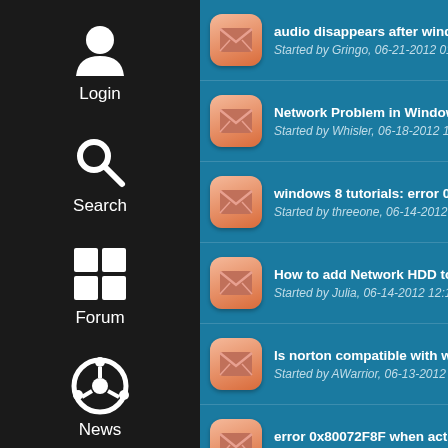Login
Search
Forum
News
audio disappears after windows 8 RP
Started by Gringo, 06-21-2012 01:46 AM
Network Problem in Windows 8 RP
Started by Whisler, 06-18-2012 12:13 AM
windows 8 tutorials: error 0x80072F8F when
Started by threeone, 06-14-2012 10:21 PM
How to add Network HDD to the Music Player
Started by Julia, 06-14-2012 12:16 AM
Is norton compatible with windows defender in
Started by AWarrior, 06-13-2012 10:18 PM
error 0x80072F8F when activating Windows 8
Started by Forrest, 06-13-2012 01:50 AM